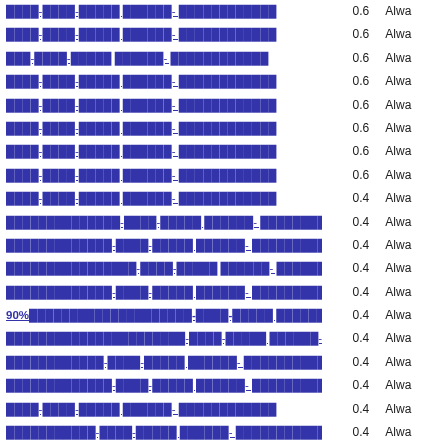| Name | Value | Status |
| --- | --- | --- |
| ████-████-█████ ██████- ████████████ | 0.6 | Alwa |
| ████-████-█████ ██████- ████████████ | 0.6 | Alwa |
| ███-████-█████ ██████- ████████████ | 0.6 | Alwa |
| ████-████-█████ ██████- ████████████ | 0.6 | Alwa |
| ████-████-█████ ██████- ████████████ | 0.6 | Alwa |
| ████-████-█████ ██████- ████████████ | 0.6 | Alwa |
| ████-████-█████ ██████- ████████████ | 0.6 | Alwa |
| ████-████-█████ ██████- ████████████ | 0.6 | Alwa |
| ████-████-█████ ██████- ████████████ | 0.4 | Alwa |
| ██████████████-████-█████ ██████- ████████████ | 0.4 | Alwa |
| █████████████-████-█████ ██████- ████████████ | 0.4 | Alwa |
| ████████████████-████-█████ ██████- ████████████ | 0.4 | Alwa |
| █████████████-████-█████ ██████- ████████████ | 0.4 | Alwa |
| 90%████████████████████-████-█████ ██████- ████████████ | 0.4 | Alwa |
| ██████████████████████-████-█████ ██████- ████████████ | 0.4 | Alwa |
| ████████████-████-█████ ██████- ████████████ | 0.4 | Alwa |
| █████████████-████-█████ ██████- ████████████ | 0.4 | Alwa |
| ████-████-█████ ██████- ████████████ | 0.4 | Alwa |
| ███████████-████-█████ ██████- ████████████ | 0.4 | Alwa |
| ████████████-████-█████ ██████- ████████████ | 0.4 | Alwa |
| ████████████████████-████-█████ ██████- ████████████ | 0.4 | Alwa |
| ██████████████-████-█████ ██████- ████████████ | 0.4 | Alwa |
| ███████████████ ████ █████ ██████- ████████████ | 0.4 | Alwa |